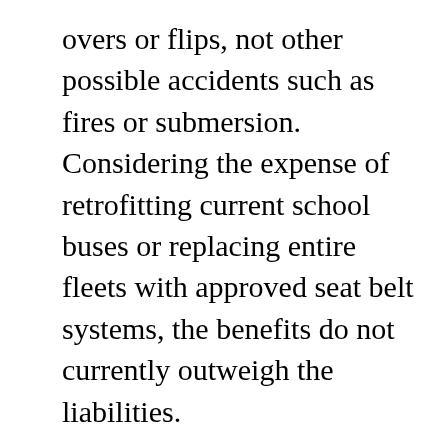overs or flips, not other possible accidents such as fires or submersion. Considering the expense of retrofitting current school buses or replacing entire fleets with approved seat belt systems, the benefits do not currently outweigh the liabilities.